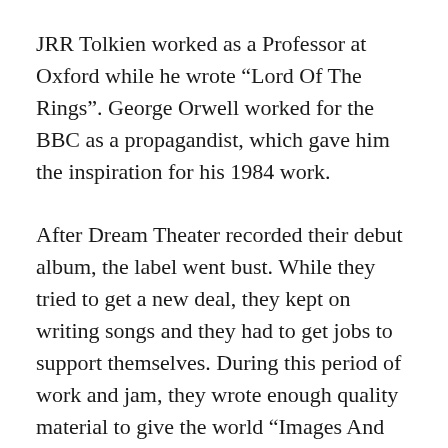JRR Tolkien worked as a Professor at Oxford while he wrote “Lord Of The Rings”. George Orwell worked for the BBC as a propagandist, which gave him the inspiration for his 1984 work.
After Dream Theater recorded their debut album, the label went bust. While they tried to get a new deal, they kept on writing songs and they had to get jobs to support themselves. During this period of work and jam, they wrote enough quality material to give the world “Images And Words”, their breakthrough album and the one...